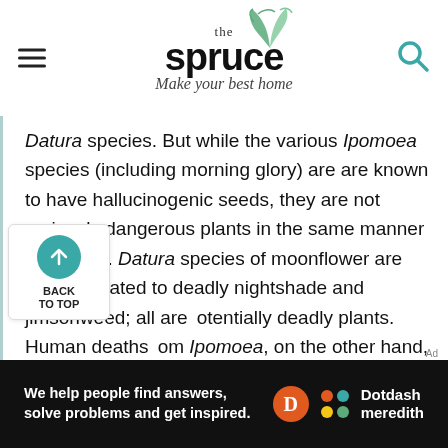[Figure (logo): The Spruce logo with leaf illustration and tagline 'Make your best home']
Datura species. But while the various Ipomoea species (including morning glory) are are known to have hallucinogenic seeds, they are not seriously dangerous plants in the same manner as Datura. Datura species of moonflower are closely related to deadly nightshade and jimsonweed; all are potentially deadly plants. Human deaths from Ipomoea, on the other hand, are extremely rare.
[Figure (infographic): Back to Top button with teal circular up arrow icon]
[Figure (infographic): Dotdash Meredith advertisement banner: 'We help people find answers, solve problems and get inspired.' with D logo and colorful dots logo]